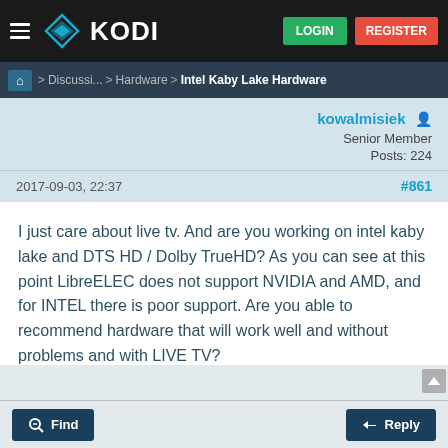KODI — LOGIN / REGISTER
Home > Discussi... > Hardware > Intel Kaby Lake Hardware
kowalmisiek
Senior Member
Posts: 224
2017-09-03, 22:37   #861
I just care about live tv. And are you working on intel kaby lake and DTS HD / Dolby TrueHD? As you can see at this point LibreELEC does not support NVIDIA and AMD, and for INTEL there is poor support. Are you able to recommend hardware that will work well and without problems and with LIVE TV?
Find   Reply